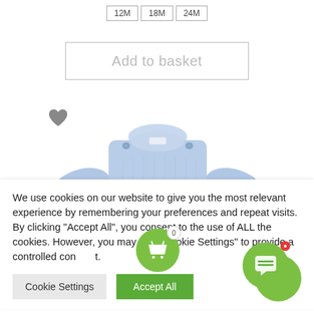12M  18M  24M
Add to basket
[Figure (photo): Light blue baby knit sweater with shoulder buttons, top half visible]
We use cookies on our website to give you the most relevant experience by remembering your preferences and repeat visits. By clicking "Accept All", you consent to the use of ALL the cookies. However, you may visit "Cookie Settings" to provide a controlled consent.
Cookie Settings
Accept All